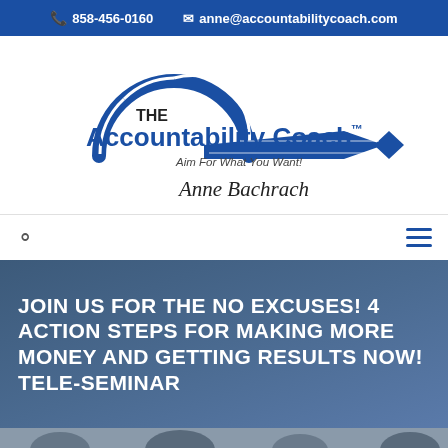📞 858-456-0160   ✉ anne@accountabilitycoach.com
[Figure (logo): The Accountability Coach logo with speedometer arc, blue arrow/chevron shape, text 'THE Accountability Coach™', tagline 'Aim For What You Want!', and signature 'Anne Bachrach']
Search icon and hamburger menu icon navigation bar
JOIN US FOR THE NO EXCUSES! 4 ACTION STEPS FOR MAKING MORE MONEY AND GETTING RESULTS NOW! TELE-SEMINAR
[Figure (photo): Bottom strip showing partial faces/heads of multiple people]